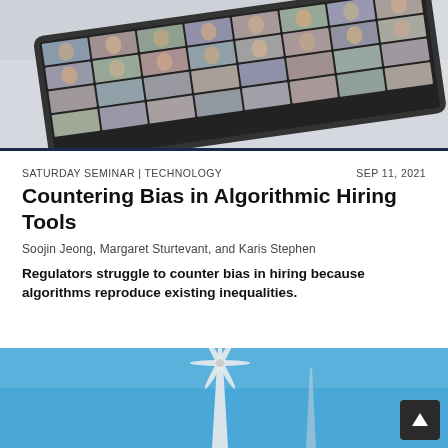[Figure (photo): A tablet or screen showing a video conference grid with many participants' faces arranged in rows and columns, tilted at an angle.]
SATURDAY SEMINAR | TECHNOLOGY
SEP 11, 2021
Countering Bias in Algorithmic Hiring Tools
Soojin Jeong, Margaret Sturtevant, and Karis Stephen
Regulators struggle to counter bias in hiring because algorithms reproduce existing inequalities.
[Figure (photo): A wind turbine against a blue sky, partially visible at the bottom of the page.]